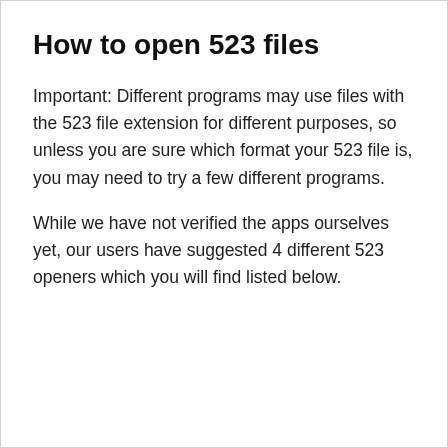How to open 523 files
Important: Different programs may use files with the 523 file extension for different purposes, so unless you are sure which format your 523 file is, you may need to try a few different programs.
While we have not verified the apps ourselves yet, our users have suggested 4 different 523 openers which you will find listed below.